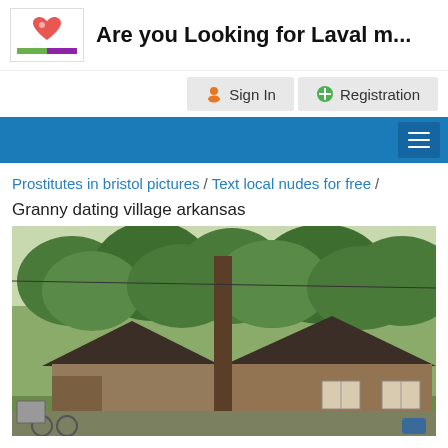Are you Looking for Laval m...
Sign In   Registration
☰
Prostitutes in bristol pictures / Text local nudes for free / Granny dating village arkansas
[Figure (photo): Exterior photo of a rustic stone and brown wood cottage-style house surrounded by trees, with a tall pine tree in the center foreground.]